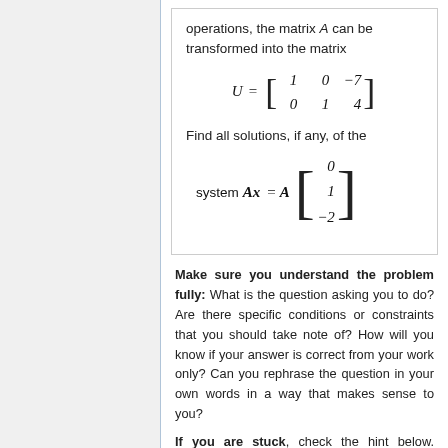operations, the matrix A can be transformed into the matrix
Find all solutions, if any, of the
Make sure you understand the problem fully: What is the question asking you to do? Are there specific conditions or constraints that you should take note of? How will you know if your answer is correct from your work only? Can you rephrase the question in your own words in a way that makes sense to you?
If you are stuck, check the hint below. Consider it for a while. Does it give you a new idea on how to approach the problem? If so, try it!